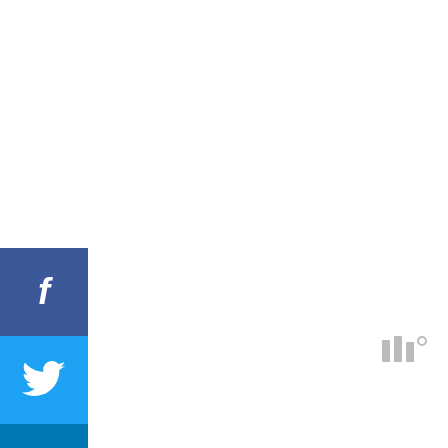[Figure (infographic): Social media share buttons sidebar: Facebook (blue), Twitter (light blue), LinkedIn (dark blue), Pinterest (red), Mix (orange) icons stacked vertically on left side]
[Figure (infographic): Small weather-like icon with three vertical bars and degree symbol, grey colored, upper right area]
See also: A Southwest Australia Roadtrip // Get Thee To Rottnest Island // Interesting Things About Perth
[Figure (screenshot): Embedded image block with dark header showing 'South Coast NSW, Australia' label with teal icon, and coastal beach aerial photo below on black background]